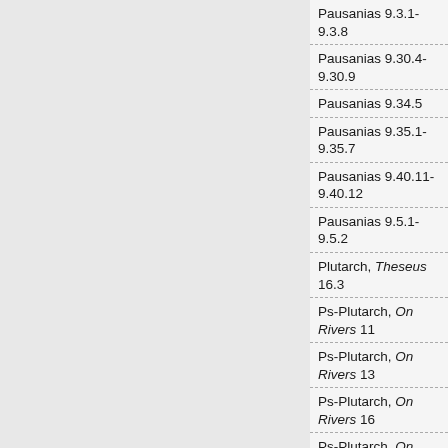Pausanias 9.3.1-9.3.8
Pausanias 9.30.4-9.30.9
Pausanias 9.34.5
Pausanias 9.35.1-9.35.7
Pausanias 9.40.11-9.40.12
Pausanias 9.5.1-9.5.2
Plutarch, Theseus 16.3
Ps-Plutarch, On Rivers 11
Ps-Plutarch, On Rivers 13
Ps-Plutarch, On Rivers 16
Ps-Plutarch, On Rivers 17
Ps-Plutarch, On Rivers 18
Ps-Plutarch, On Rivers 19
Ps-Plutarch, On Rivers 24
Ps-Plutarch, On Rivers 5
Aithiopis    Cypria
Homeric Hymn 1 to Dionysos
Homeric Hymn 12 to Hera
Homeric Hymn 14 to the Mother of